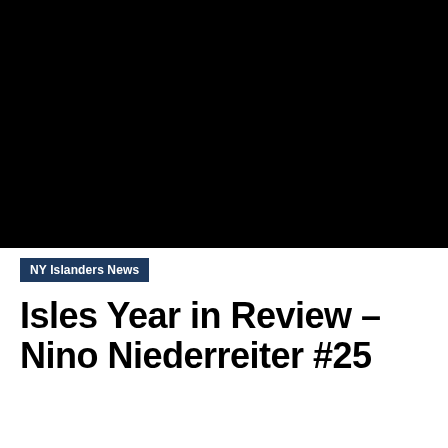[Figure (photo): Black rectangular image placeholder representing a video or photo of Nino Niederreiter]
NY Islanders News
Isles Year in Review – Nino Niederreiter #25